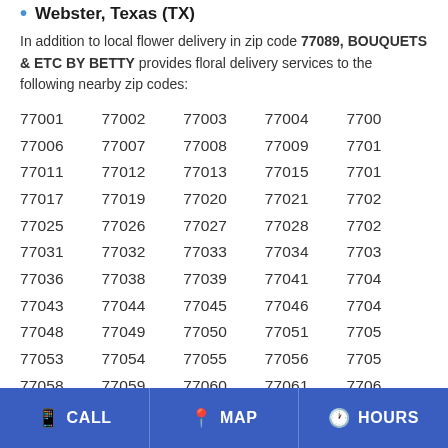Webster, Texas (TX)
In addition to local flower delivery in zip code 77089, BOUQUETS & ETC BY BETTY provides floral delivery services to the following nearby zip codes:
| col1 | col2 | col3 | col4 | col5 |
| --- | --- | --- | --- | --- |
| 77001 | 77002 | 77003 | 77004 | 7700 |
| 77006 | 77007 | 77008 | 77009 | 7701 |
| 77011 | 77012 | 77013 | 77015 | 7701 |
| 77017 | 77019 | 77020 | 77021 | 7702 |
| 77025 | 77026 | 77027 | 77028 | 7702 |
| 77031 | 77032 | 77033 | 77034 | 7703 |
| 77036 | 77038 | 77039 | 77041 | 7704 |
| 77043 | 77044 | 77045 | 77046 | 7704 |
| 77048 | 77049 | 77050 | 77051 | 7705 |
| 77053 | 77054 | 77055 | 77056 | 7705 |
| 77058 | 77059 | 77060 | 77061 | 7706 |
| 77063 | 77064 | 77071 | 77072 | 7707 |
| 77075 | 77076 | 77077 | 77078 | 7708 |
| 77081 | 77085 | 77087 | 77088 | 7708 |
| 77091 | 77092 | 77093 | 77096 | 7709 |
| 77098 | 77099 | 77201 | 77202 | 7720 |
CALL   MAP   HOURS